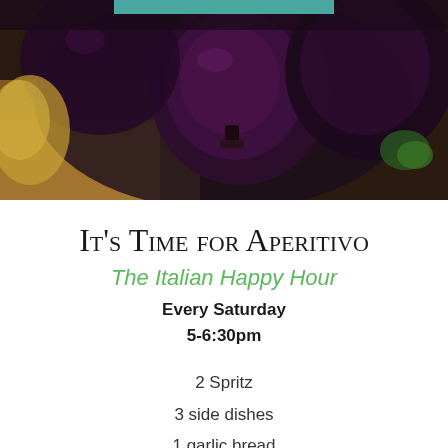[Figure (photo): Photo of dark purple eggplants/aubergines in a bowl with other vegetables on a wooden surface, dark moody lighting]
It's Time for Aperitivo
The Italian Happy Hour
Every Saturday
5-6:30pm
2 Spritz
3 side dishes
1 garlic bread